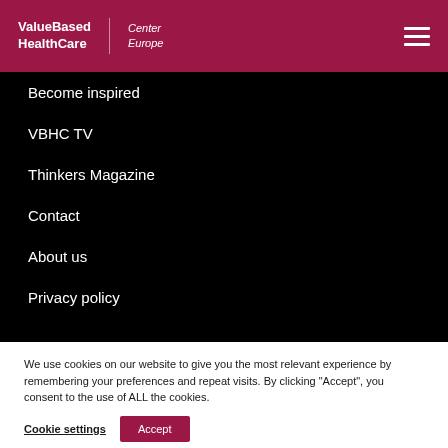ValueBased HealthCare | Center Europe
Become inspired
VBHC TV
Thinkers Magazine
Contact
About us
Privacy policy
We use cookies on our website to give you the most relevant experience by remembering your preferences and repeat visits. By clicking “Accept”, you consent to the use of ALL the cookies.
Cookie settings | Accept